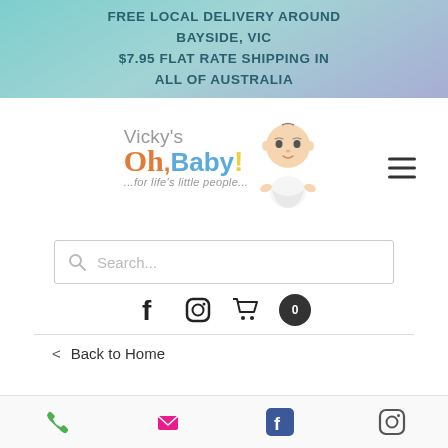FREE LOCAL DELIVERY AROUND BAYSIDE, VIC
$7.95 FLAT RATE SHIPPING IN ALL OF AUSTRALIA
[Figure (logo): Vicky's Oh,Baby! logo with cartoon baby and tagline '...for life's little people...']
[Figure (other): Search bar with magnifying glass icon and placeholder text 'Search...']
[Figure (other): Social icons row: Facebook, Instagram, shopping cart with 0 badge]
< Back to Home
[Figure (photo): Partially visible product image at bottom]
Phone, Email, Facebook, Instagram icons in bottom bar